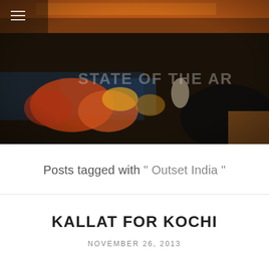[Figure (photo): A dark, expressionistic painting showing figures in warm reds, oranges and yellows against a dark background. Partially visible text 'STATE OF THE AR' visible in center. A hamburger menu icon (three horizontal lines) is overlaid in the top-left corner.]
Posts tagged with " Outset India "
KALLAT FOR KOCHI
NOVEMBER 26, 2013